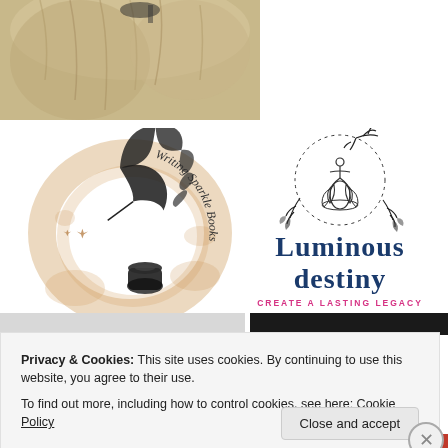[Figure (photo): Partial photo of a dog with light fur, shown at top of page]
[Figure (logo): Writing Sparkle Books logo: circular coffee stain ring with a black feather quill pen and inkwell, cursive text 'Writing Sparkle Books' along the ring]
[Figure (logo): Luminous Destiny logo: botanical circle illustration with lotus and meditating figure above, navy/dark blue text 'Luminous Destiny' in large serif font, pink text 'CREATE A LASTING LEGACY' below]
Privacy & Cookies: This site uses cookies. By continuing to use this website, you agree to their use.
To find out more, including how to control cookies, see here: Cookie Policy
Close and accept